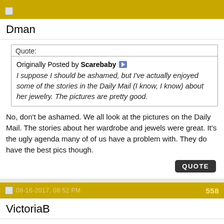Dman
Quote:
Originally Posted by Scarebaby
I suppose I should be ashamed, but I've actually enjoyed some of the stories in the Daily Mail (I know, I know) about her jewelry. The pictures are pretty good.
No, don't be ashamed. We all look at the pictures on the Daily Mail. The stories about her wardrobe and jewels were great. It's the ugly agenda many of of us have a problem with. They do have the best pics though.
QUOTE
08-16-2017, 08:52 PM  558
VictoriaB
Quote:
Originally Posted by soapstar
I don't think this is the last of it. "The Crown" (which is Netflix's #1 show) plans to do two seasons on Charles and